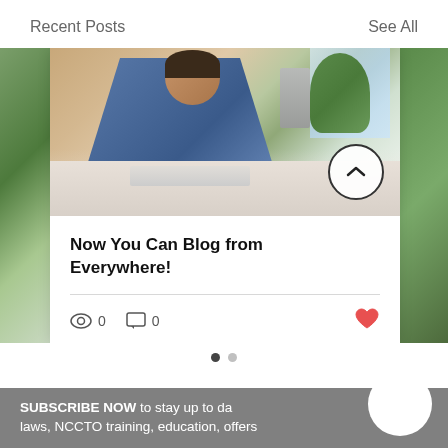Recent Posts    See All
[Figure (photo): Photo of a bearded man in a denim jacket leaning over a desk with a laptop, in a bright office setting with plants and a window in background]
Now You Can Blog from Everywhere!
0 views  0 comments  like
SUBSCRIBE NOW to stay up to date with laws, NCCTO training, education, offers